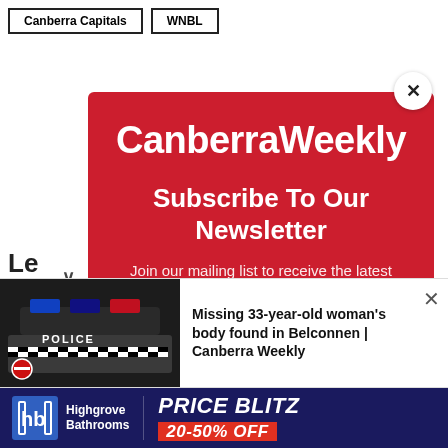Canberra Capitals | WNBL
Le...
[Figure (screenshot): Canberra Weekly newsletter subscription modal popup overlay on a news website. Red background modal with white text showing the Canberra Weekly logo, 'Subscribe To Our Newsletter' headline, and 'Join our mailing list to receive the latest news straight to your inbox.' subtext. A white circular close button with X is in the top right.]
Missing 33-year-old woman’s body found in Belconnen | Canberra Weekly
[Figure (photo): Police car with POLICE text visible, dark image]
[Figure (infographic): Highgrove Bathrooms advertisement banner: PRICE BLITZ 20-50% OFF on dark blue background]